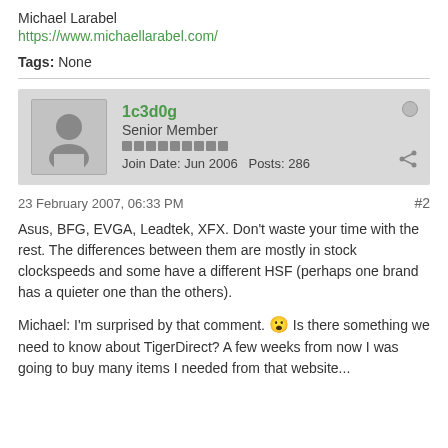Michael Larabel
https://www.michaellarabel.com/
Tags: None
1c3d0g
Senior Member
Join Date: Jun 2006   Posts: 286
23 February 2007, 06:33 PM
#2
Asus, BFG, EVGA, Leadtek, XFX. Don't waste your time with the rest. The differences between them are mostly in stock clockspeeds and some have a different HSF (perhaps one brand has a quieter one than the others).
Michael: I'm surprised by that comment. 😮 Is there something we need to know about TigerDirect? A few weeks from now I was going to buy many items I needed from that website...